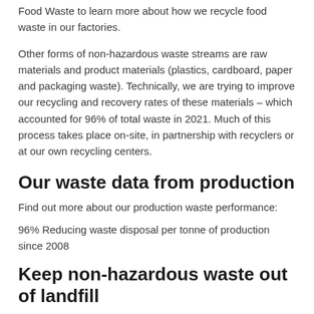Food Waste to learn more about how we recycle food waste in our factories.
Other forms of non-hazardous waste streams are raw materials and product materials (plastics, cardboard, paper and packaging waste). Technically, we are trying to improve our recycling and recovery rates of these materials – which accounted for 96% of total waste in 2021. Much of this process takes place on-site, in partnership with recyclers or at our own recycling centers.
Our waste data from production
Find out more about our production waste performance:
96% Reducing waste disposal per tonne of production since 2008
Keep non-hazardous waste out of landfill